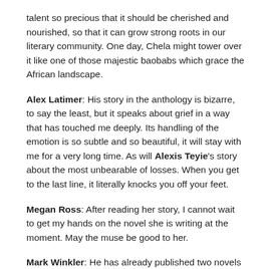talent so precious that it should be cherished and nourished, so that it can grow strong roots in our literary community. One day, Chela might tower over it like one of those majestic baobabs which grace the African landscape.
Alex Latimer: His story in the anthology is bizarre, to say the least, but it speaks about grief in a way that has touched me deeply. Its handling of the emotion is so subtle and so beautiful, it will stay with me for a very long time. As will Alexis Teyie's story about the most unbearable of losses. When you get to the last line, it literally knocks you off your feet.
Megan Ross: After reading her story, I cannot wait to get my hands on the novel she is writing at the moment. May the muse be good to her.
Mark Winkler: He has already published two novels which I might not have looked at, hadn't I fallen in love with his story